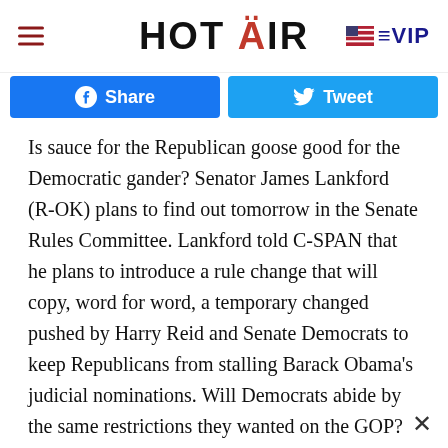HOT AIR  VIP
[Figure (other): Facebook Share button and Twitter Tweet button social sharing bar]
Is sauce for the Republican goose good for the Democratic gander? Senator James Lankford (R-OK) plans to find out tomorrow in the Senate Rules Committee. Lankford told C-SPAN that he plans to introduce a rule change that will copy, word for word, a temporary changed pushed by Harry Reid and Senate Democrats to keep Republicans from stalling Barack Obama's judicial nominations. Will Democrats abide by the same restrictions they wanted on the GOP?